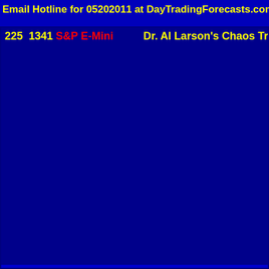Email Hotline for 05202011 at DayTradingForecasts.com
[Figure (screenshot): Trading chart interface header showing '225 1341 S&P E-Mini' in yellow and red text, and 'Dr. Al Larson's Chaos Tra' (truncated) in yellow, on a dark blue background. The chart area below is a large dark blue/navy empty space with a border.]